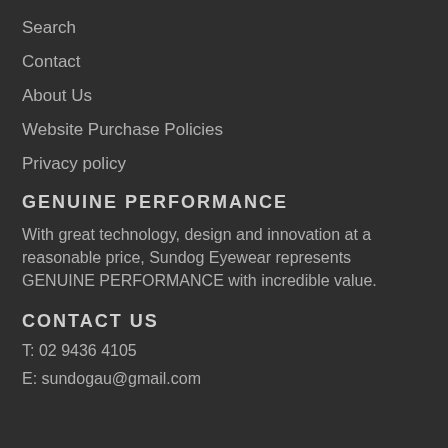Search
Contact
About Us
Website Purchase Policies
Privacy policy
GENUINE PERFORMANCE
With great technology, design and innovation at a reasonable price, Sundog Eyewear represents GENUINE PERFORMANCE with incredible value.
CONTACT US
T: 02 9436 4105
E: sundogau@gmail.com